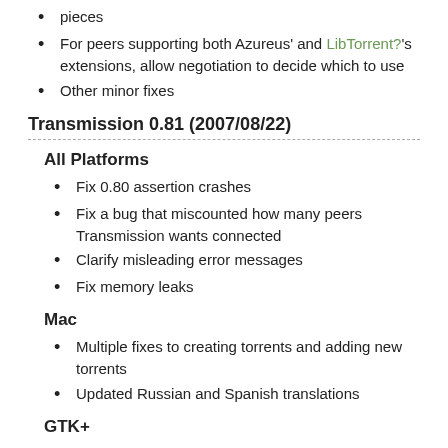pieces
For peers supporting both Azureus' and LibTorrent?'s extensions, allow negotiation to decide which to use
Other minor fixes
Transmission 0.81 (2007/08/22)
All Platforms
Fix 0.80 assertion crashes
Fix a bug that miscounted how many peers Transmission wants connected
Clarify misleading error messages
Fix memory leaks
Mac
Multiple fixes to creating torrents and adding new torrents
Updated Russian and Spanish translations
GTK+
Updated Dutch, Portuguese, French, and Slovakian translations
CLI
Better support for cli-driven torrent creation
Fix a bug that mispareed command-line arguments